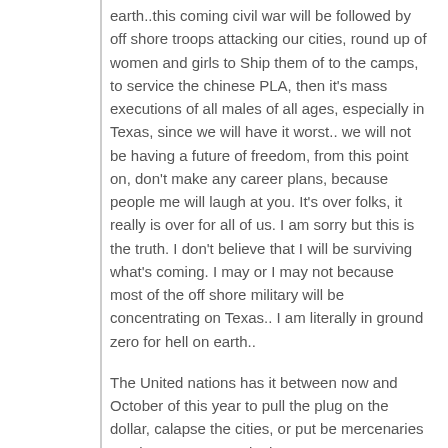earth..this coming civil war will be followed by off shore troops attacking our cities, round up of women and girls to Ship them of to the camps, to service the chinese PLA, then it's mass executions of all males of all ages, especially in Texas, since we will have it worst.. we will not be having a future of freedom, from this point on, don't make any career plans, because people me will laugh at you. It's over folks, it really is over for all of us. I am sorry but this is the truth. I don't believe that I will be surviving what's coming. I may or I may not because most of the off shore military will be concentrating on Texas.. I am literally in ground zero for hell on earth..
The United nations has it between now and October of this year to pull the plug on the dollar, calapse the cities, or put be mercenaries to take out Texas and other states.. you see when they calapse us in the US, they have to shoot us and kill us, to gain total control.. they are getting ready for the assault. Jade helm 15/16 is still gearing up to take out the constitutionalist types like us and others. What the phuck I am I going to do. I